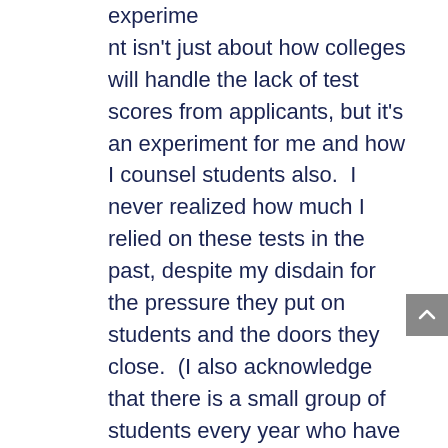experime
nt isn't just about how colleges will handle the lack of test scores from applicants, but it's an experiment for me and how I counsel students also.  I never realized how much I relied on these tests in the past, despite my disdain for the pressure they put on students and the doors they close.  (I also acknowledge that there is a small group of students every year who have a door open because of the SAT and ACT, but data seems to suggest more students have doors closed than opened.)
Humans are creatures of habit and I'm no different.  I had become so dependent upon our Naviance scattergrams and the combo of that GPA and test score data in helping students as